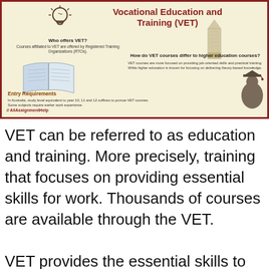[Figure (infographic): Infographic about Vocational Education and Training (VET) on a cream/beige background with red border. Contains a lightbulb icon, pencil illustration, open book illustration, graduation figure silhouette. Sections: title 'Vocational Education and Training (VET)', 'Who offers VET?', 'How do VET courses differ to higher education courses?', 'Entry Requirements'. Watermark: AllAssignmentHelp.]
VET can be referred to as education and training. More precisely, training that focuses on providing essential skills for work. Thousands of courses are available through the VET.
VET provides the essential skills to help